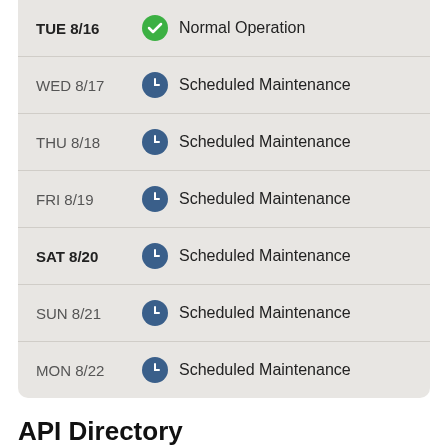| Day | Status |
| --- | --- |
| TUE 8/16 | Normal Operation |
| WED 8/17 | Scheduled Maintenance |
| THU 8/18 | Scheduled Maintenance |
| FRI 8/19 | Scheduled Maintenance |
| SAT 8/20 | Scheduled Maintenance |
| SUN 8/21 | Scheduled Maintenance |
| MON 8/22 | Scheduled Maintenance |
API Directory
| Day | Status |
| --- | --- |
| TUE 8/16 | Normal Operation |
| WED 8/17 | Normal Operation |
| THU 8/18 | Normal Operation |
| FRI 8/19 | Normal Operation |